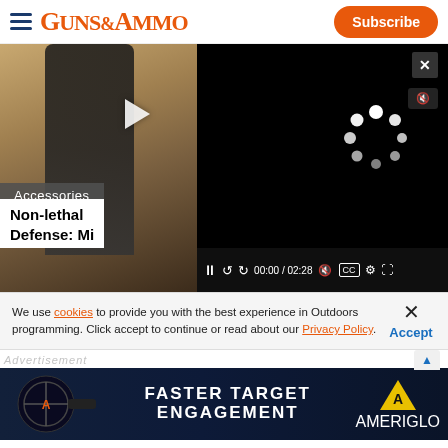GUNS&AMMO Subscribe
[Figure (screenshot): Video player showing a person in black clothing at a shooting range. Left half shows outdoor scene, right half shows dark video player with loading spinner. Category label: Accessories. Title overlay: Non-lethal Defense: Mi... Video controls show 00:00 / 02:28]
Non-lethal Defense: Mi
We use cookies to provide you with the best experience in Outdoors programming. Click accept to continue or read about our Privacy Policy.
Advertisement
[Figure (photo): Advertisement banner for AMERIGLO: FASTER TARGET ENGAGEMENT. Shows a firearm with sight on dark blue background with AMERIGLO logo (yellow triangle A).]